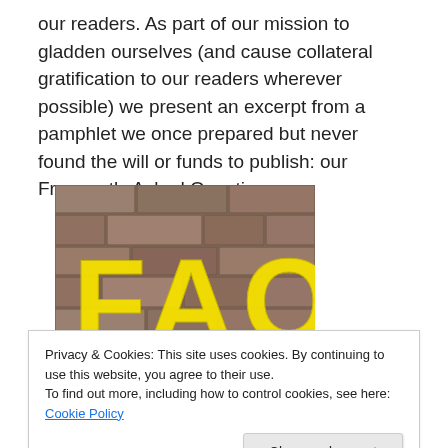our readers. As part of our mission to gladden ourselves (and cause collateral gratification to our readers wherever possible) we present an excerpt from a pamphlet we once prepared but never found the will or funds to publish: our Frequently Asked Questions.
[Figure (photo): Photograph of a stone brick wall with 'FAQ' written in large yellow graffiti letters]
Privacy & Cookies: This site uses cookies. By continuing to use this website, you agree to their use.
To find out more, including how to control cookies, see here: Cookie Policy
[Figure (photo): Partial photo at bottom of page, dark image partially visible]